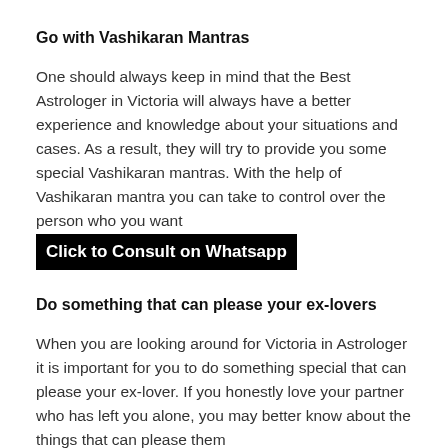Go with Vashikaran Mantras
One should always keep in mind that the Best Astrologer in Victoria will always have a better experience and knowledge about your situations and cases. As a result, they will try to provide you some special Vashikaran mantras. With the help of Vashikaran mantra you can take to control over the person who you want [Click to Consult on Whatsapp]
Do something that can please your ex-lovers
When you are looking around for Victoria in Astrologer it is important for you to do something special that can please your ex-lover. If you honestly love your partner who has left you alone, you may better know about the things that can please them